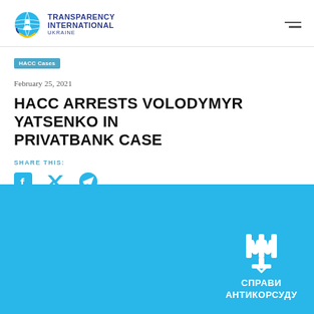[Figure (logo): Transparency International Ukraine logo with globe icon and organization name]
HACC Cases
February 25, 2021
HACC ARRESTS VOLODYMYR YATSENKO IN PRIVATBANK CASE
SHARE THIS:
[Figure (illustration): Social media share icons: Facebook, Twitter, Telegram]
[Figure (logo): Blue background section with Ukrainian anti-corruption court logo and text СПРАВИ АНТИКОРСУДУ]